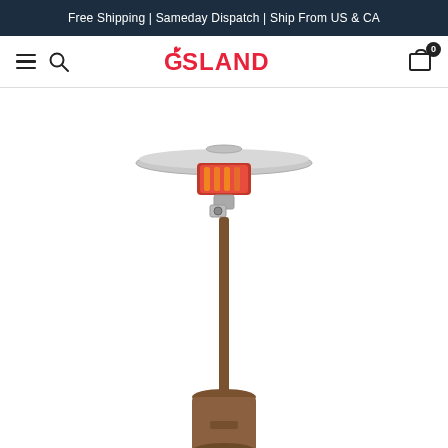Free Shipping | Sameday Dispatch | Ship From US & CA
[Figure (screenshot): Website navigation bar with hamburger menu, search icon, GASLAND logo in red, and shopping cart icon with badge showing 0]
[Figure (photo): Tall patio heater / outdoor gas heater with bronze/copper colored pole and base, mushroom-shaped stainless steel reflector top, red flame emitter ring, and control knob visible on the pole]